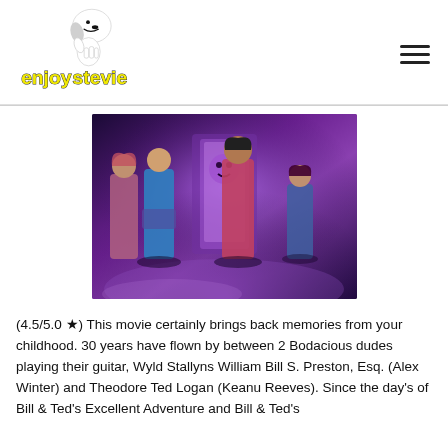[Figure (logo): enjoystevie logo with Snoopy-like character giving thumbs up, yellow text]
[Figure (photo): Four people standing in front of a glowing arcade/phone booth, purple atmospheric lighting — movie promotional image]
(4.5/5.0 ★) This movie certainly brings back memories from your childhood. 30 years have flown by between 2 Bodacious dudes playing their guitar, Wyld Stallyns William Bill S. Preston, Esq. (Alex Winter) and Theodore Ted Logan (Keanu Reeves). Since the day's of Bill & Ted's Excellent Adventure and Bill & Ted's